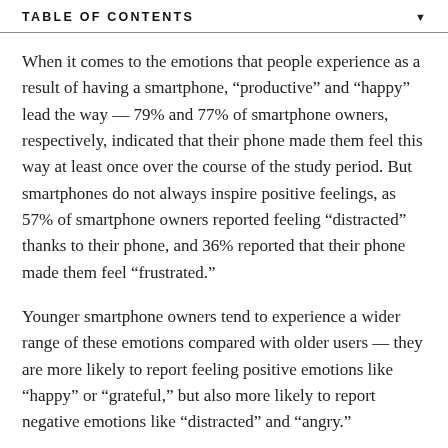TABLE OF CONTENTS
When it comes to the emotions that people experience as a result of having a smartphone, “productive” and “happy” lead the way — 79% and 77% of smartphone owners, respectively, indicated that their phone made them feel this way at least once over the course of the study period. But smartphones do not always inspire positive feelings, as 57% of smartphone owners reported feeling “distracted” thanks to their phone, and 36% reported that their phone made them feel “frustrated.”
Younger smartphone owners tend to experience a wider range of these emotions compared with older users — they are more likely to report feeling positive emotions like “happy” or “grateful,” but also more likely to report negative emotions like “distracted” and “angry.”
More details about the data sources used in this